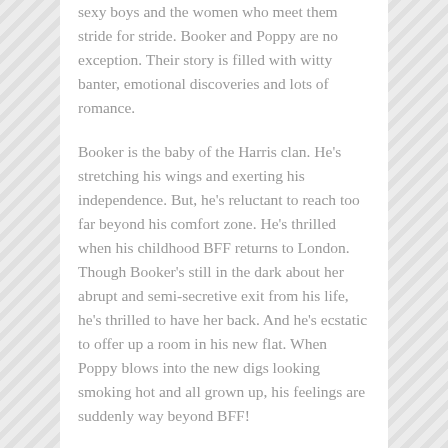sexy boys and the women who meet them stride for stride. Booker and Poppy are no exception. Their story is filled with witty banter, emotional discoveries and lots of romance.
Booker is the baby of the Harris clan. He's stretching his wings and exerting his independence. But, he's reluctant to reach too far beyond his comfort zone. He's thrilled when his childhood BFF returns to London. Though Booker's still in the dark about her abrupt and semi-secretive exit from his life, he's thrilled to have her back. And he's ecstatic to offer up a room in his new flat. When Poppy blows into the new digs looking smoking hot and all grown up, his feelings are suddenly way beyond BFF!
Poppy is conflicted. On one hand, she's thrilled to be back in London and back in the orbit of her bestie, Booker. On the other hand, there's